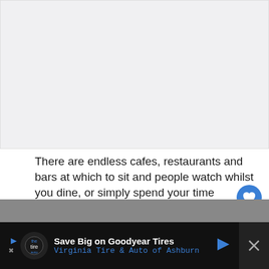[Figure (photo): Large image placeholder area, light gray background]
There are endless cafes, restaurants and bars at which to sit and people watch whilst you dine, or simply spend your time browsing.  There are numerous notable buildings worth checking out including Cathedrale Ste-Reparte.
[Figure (photo): Partial photo strip visible at bottom, partially obscured by ad bar]
Save Big on Goodyear Tires Virginia Tire & Auto of Ashburn